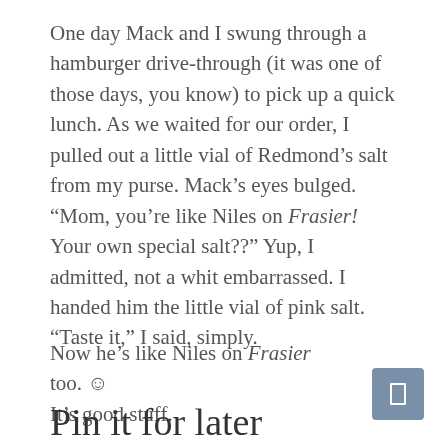One day Mack and I swung through a hamburger drive-through (it was one of those days, you know) to pick up a quick lunch. As we waited for our order, I pulled out a little vial of Redmond’s salt from my purse. Mack’s eyes bulged. “Mom, you’re like Niles on Frasier! Your own special salt??” Yup, I admitted, not a whit embarrassed. I handed him the little vial of pink salt. “Taste it,” I said, simply.
Now he’s like Niles on Frasier too. ☺ It’s good stuff.
Pin it for later